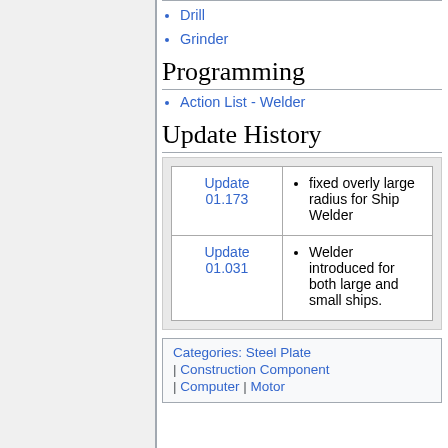Drill
Grinder
Programming
Action List - Welder
Update History
| Version | Changes |
| --- | --- |
| Update 01.173 | fixed overly large radius for Ship Welder |
| Update 01.031 | Welder introduced for both large and small ships. |
Categories: Steel Plate | Construction Component | Computer | Motor